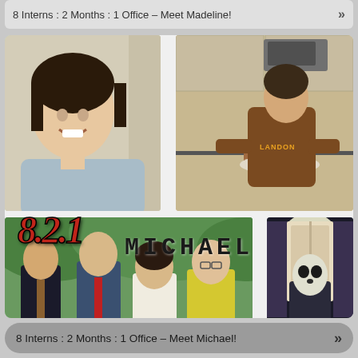8 Interns : 2 Months : 1 Office – Meet Madeline!
[Figure (photo): Collage of four photos featuring Michael: top-left shows a young man smiling at camera outdoors; top-right shows a young man in a kitchen with a brown hoodie holding a cake; bottom-left shows a group of four people at a graduation ceremony including a man in a suit, a young man with a red tie holding a diploma, and two women; bottom-right shows a person in a dark room possibly wearing a costume. Overlaid text reads '8.2.1 MICHAEL']
8 Interns : 2 Months : 1 Office – Meet Michael!